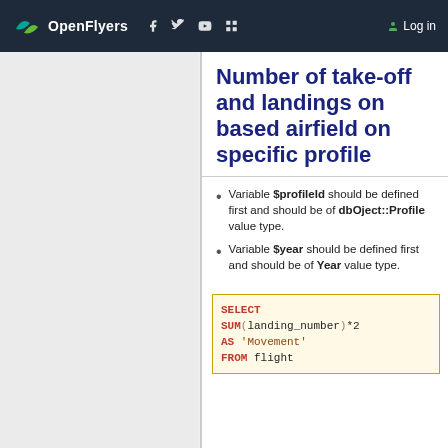OpenFlyers — navigation bar with logo, social icons, Log in
Number of take-off and landings on based airfield on specific profile
Variable $profileId should be defined first and should be of dbOject::Profile value type.
Variable $year should be defined first and should be of Year value type.
SELECT
SUM(landing_number)*2
AS 'Movement'
FROM flight